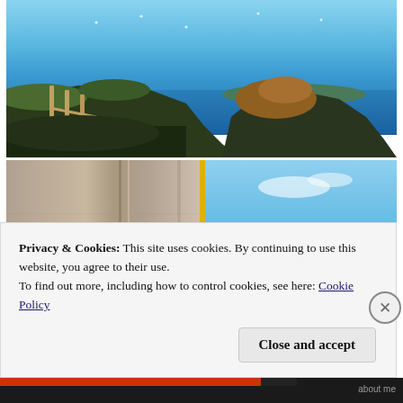[Figure (photo): Coastal landscape photo showing rocky cliffs with yellow-green vegetation, wooden fence posts, and a blue ocean with distant landmass on the horizon under a clear blue sky with seabirds.]
[Figure (photo): Close-up photo of beige/tan wooden panels or shutters on the left side, with a yellow vertical stripe, and blue sky with distant green landscape visible on the right side.]
Privacy & Cookies: This site uses cookies. By continuing to use this website, you agree to their use.
To find out more, including how to control cookies, see here: Cookie Policy